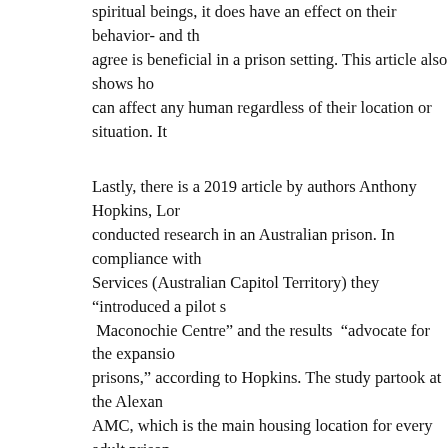spiritual beings, it does have an effect on their behavior- and th... agree is beneficial in a prison setting. This article also shows ho... can affect any human regardless of their location or situation. It... make more money/please the public. There have been multiple s... demonstrate how yoga has a positive impact on the lives of con...
Lastly, there is a 2019 article by authors Anthony Hopkins, Lor... conducted research in an Australian prison. In compliance with... Services (Australian Capitol Territory) they "introduced a pilot ...  Maconochie Centre" and the results "advocate for the expansio... prisons," according to Hopkins. The study partook at the Alexan... AMC, which is the main housing location for every adult prison... documented in the article from 2019 that a majority of the priso... tattoo-covered and muscular, convicted of high-scale felonies. A... yoga has a highly positive impact on the participants, and this a... yoga in penitentiaries is not only effective for common America... relatively "permissible crimes", but also for the  prisoners who h... crimes. Of course, no crime is permissible because it breaks the... between a prisoner whose minor demeanors have accumulated t...